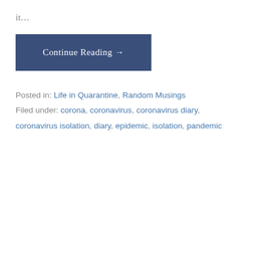it…
Continue Reading →
Posted in: Life in Quarantine, Random Musings
Filed under: corona, coronavirus, coronavirus diary, coronavirus isolation, diary, epidemic, isolation, pandemic